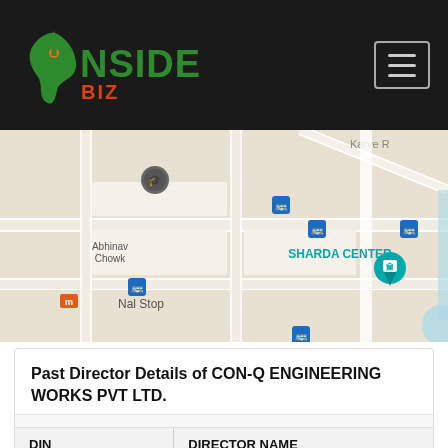[Figure (logo): InsiderBiz logo — green India map shape with orange arrow going up, text INSIDER in green and BIZ in orange/red]
[Figure (map): Google Maps screenshot showing Sharda Center area in Pune, India, with labels: Abhinav Chowk, SHARDA CENTER, Nal Stop, Karve Road, and bus stop icons]
Past Director Details of CON-Q ENGINEERING WORKS PVT LTD.
| DIN | DIRECTOR NAME |
| --- | --- |
| Past Director Details of CON-Q ENGINEERING WORKS PV... |  |
Past Director Details of CON-Q ENGINEERING WORKS PV